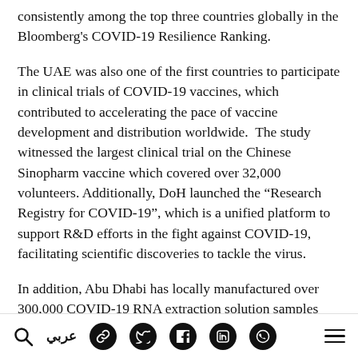consistently among the top three countries globally in the Bloomberg's COVID-19 Resilience Ranking.
The UAE was also one of the first countries to participate in clinical trials of COVID-19 vaccines, which contributed to accelerating the pace of vaccine development and distribution worldwide.  The study witnessed the largest clinical trial on the Chinese Sinopharm vaccine which covered over 32,000 volunteers. Additionally, DoH launched the “Research Registry for COVID-19”, which is a unified platform to support R&D efforts in the fight against COVID-19, facilitating scientific discoveries to tackle the virus.
In addition, Abu Dhabi has locally manufactured over 300,000 COVID-19 RNA extraction solution samples and increased testing capacity to more than 500,000 tests per day. Additionally, the storage capacity for vaccines in Abu Dhabi reached nine billion vaccine
Search | عربي | social icons | menu